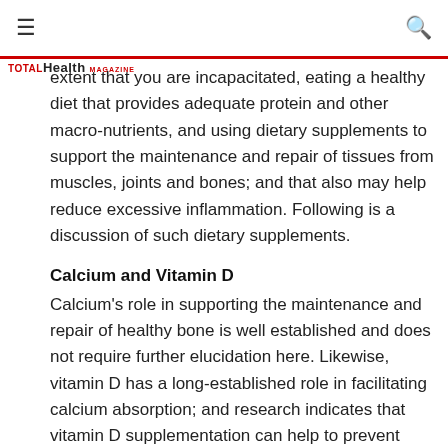≡   [search icon]
extent that you are incapacitated, eating a healthy diet that provides adequate protein and other macro-nutrients, and using dietary supplements to support the maintenance and repair of tissues from muscles, joints and bones; and that also may help reduce excessive inflammation. Following is a discussion of such dietary supplements.
Calcium and Vitamin D
Calcium's role in supporting the maintenance and repair of healthy bone is well established and does not require further elucidation here. Likewise, vitamin D has a long-established role in facilitating calcium absorption; and research indicates that vitamin D supplementation can help to prevent bone loss¹·².
SierraSil™
SierraSil is a naturally-occurring mineral composite found